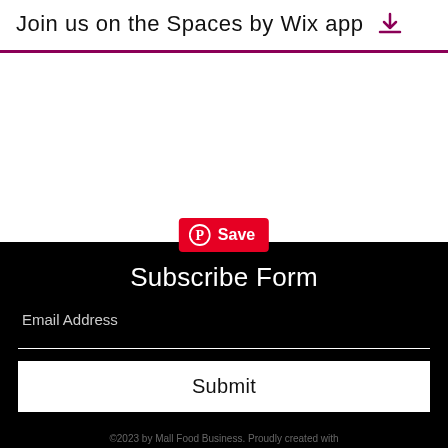Join us on the Spaces by Wix app
[Figure (other): Pinterest Save button overlay with red background and white Pinterest logo and 'Save' text]
Subscribe Form
Email Address
Submit
©2023 by Mall Food Business. Proudly created with